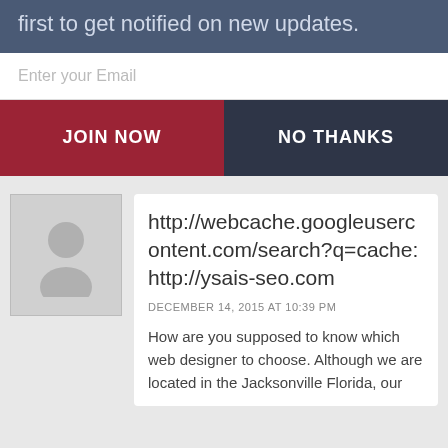first to get notified on new updates.
Enter your Email
JOIN NOW
NO THANKS
http://webcache.googleusercontent.com/search?q=cache:http://ysais-seo.com
DECEMBER 14, 2015 AT 10:39 PM
How are you supposed to know which web designer to choose. Although we are located in the Jacksonville Florida, our